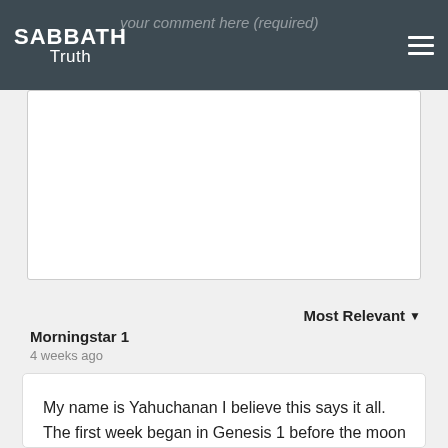SABBATH Truth
Your comment here (required)
Most Relevant ▼
Morningstar 1
4 weeks ago
My name is Yahuchanan I believe this says it all. The first week began in Genesis 1 before the moon began shining. This settles the fact that the week has always